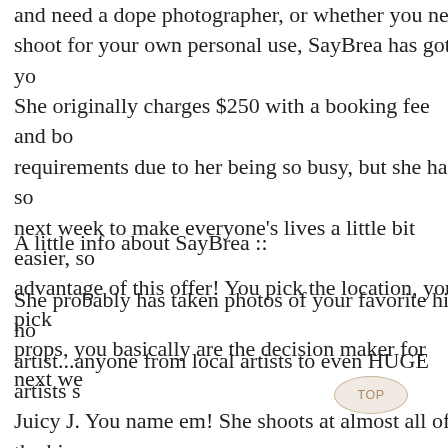and need a dope photographer, or whether you need a shoot for your own personal use, SayBrea has got you. She originally charges $250 with a booking fee and booking requirements due to her being so busy, but she has some next week to make everyone's lives a little bit easier, so take advantage of this offer! You pick the location, you pick the props, you basically are the decision maker for next we...
A little info about SayBrea ::
She probably has taken photos of your favorite hip hop artist...anyone from local artists to even HUGE artists such as Juicy J. You name em! She shoots at almost all of the hip hop shows going on in Dallas and goes down to Austin quite often to shoot at shows down there. Also, she shot the cover of 5 with A.Dd+. Even our fam over at Chan-Lo.com has SayBrea shooting for the site. As you can see, she's a very in-de...